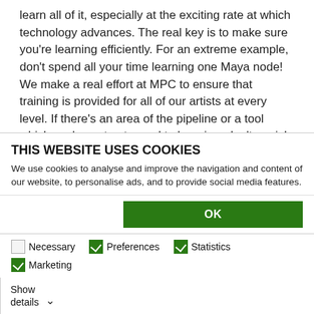learn all of it, especially at the exciting rate at which technology advances. The real key is to make sure you're learning efficiently. For an extreme example, don't spend all your time learning one Maya node! We make a real effort at MPC to ensure that training is provided for all of our artists at every level. If there's an area of the pipeline or a tool which you've not got round to learning, don't panic! You're not expected to know everything.
WHAT ADVICE WOULD YOU GIVE TO A DIGITAL CREATIVE TRYING TO LAND THEIR FIRST INDUSTRY ROLE?
Make sure you connect with the industry. As I mentioned earlier, this industry is all about networking...
THIS WEBSITE USES COOKIES
We use cookies to analyse and improve the navigation and content of our website, to personalise ads, and to provide social media features.
OK
Necessary  Preferences  Statistics  Marketing  Show details